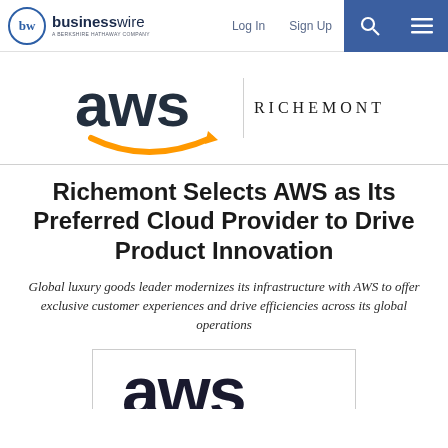businesswire — A BERKSHIRE HATHAWAY COMPANY | Log In | Sign Up
[Figure (logo): AWS logo (large text 'aws' with orange arrow/smile underneath) and RICHEMONT text logo side by side]
Richemont Selects AWS as Its Preferred Cloud Provider to Drive Product Innovation
Global luxury goods leader modernizes its infrastructure with AWS to offer exclusive customer experiences and drive efficiencies across its global operations
[Figure (logo): Partial AWS logo visible at bottom of page inside a bordered box]